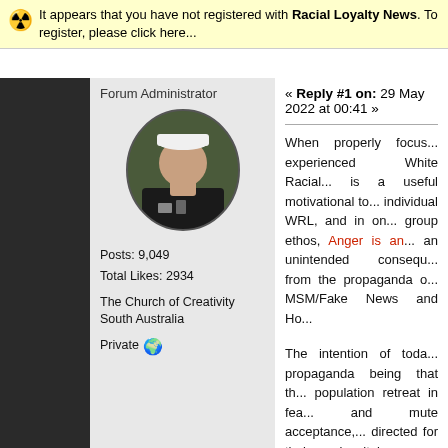It appears that you have not registered with Racial Loyalty News. To register, please click here...
Forum Administrator
[Figure (photo): Profile avatar photo of a man in dark clothing with a white hat, circular crop]
Posts: 9,049
Total Likes: 2934
The Church of Creativity South Australia
Private
« Reply #1 on: 29 May 2022 at 00:41 »
When properly focus... experienced White Racial... is a useful motivational to... individual WRL, and in on... group ethos, Anger is an... an unintended consequ... from the propaganda o... MSM/Fake News and Ho...
The intention of toda... propaganda being that th... population retreat in fea... and mute acceptance,... directed for their inevitab... as instructed by their... Sources and belo... Democratic Government..